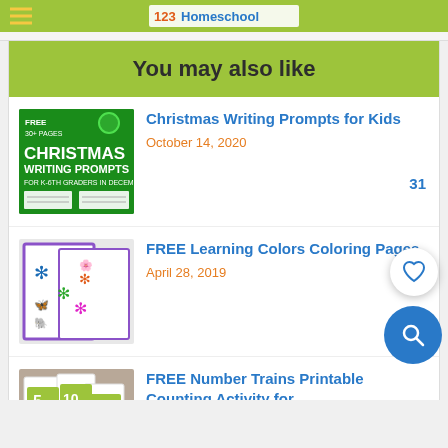123Homeschool
You may also like
[Figure (photo): Christmas Writing Prompts printable cover, green background with Christmas decorations]
Christmas Writing Prompts for Kids
October 14, 2020
[Figure (photo): FREE Learning Colors Coloring Pages, purple bordered coloring pages with snowflake/star patterns]
FREE Learning Colors Coloring Pages
April 28, 2019
[Figure (photo): FREE Number Trains Printable Counting Activity, cards with numbers 5, 10, 15 and blue train]
FREE Number Trains Printable Counting Activity for...
July 7, 2021